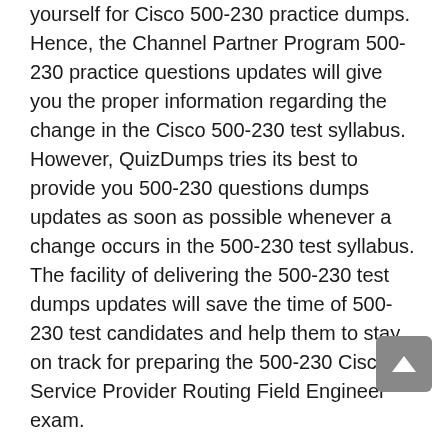yourself for Cisco 500-230 practice dumps. Hence, the Channel Partner Program 500-230 practice questions updates will give you the proper information regarding the change in the Cisco 500-230 test syllabus. However, QuizDumps tries its best to provide you 500-230 questions dumps updates as soon as possible whenever a change occurs in the 500-230 test syllabus. The facility of delivering the 500-230 test dumps updates will save the time of 500-230 test candidates and help them to stay on track for preparing the 500-230 Cisco Service Provider Routing Field Engineer exam.
Free Cisco 500-230 Dumps PDF Demo For Your Satisfaction
This platform, QuizDumps, is for Cisco 500-230 test candidates' comfort and full support